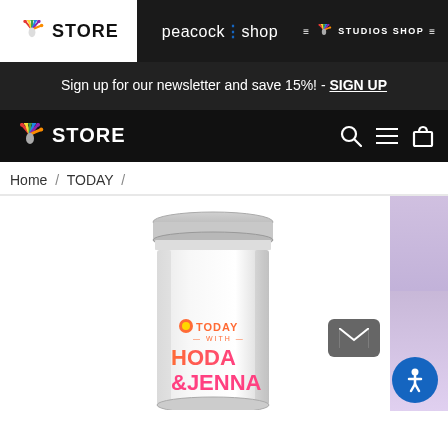[Figure (logo): NBC Store top navigation bar with NBC Store logo (white background), Peacock Shop logo (dark background, center), and NBC Studios Shop logo (dark background, right)]
Sign up for our newsletter and save 15%! - SIGN UP
[Figure (logo): NBC Store main navigation bar with NBC Store logo on left, search icon, hamburger menu icon, and shopping bag icon on right]
Home / TODAY /
[Figure (photo): White tumbler cup with Today with Hoda & Jenna logo printed on it, featuring pink and orange gradient text on white background. Partial side image of a person on the right edge.]